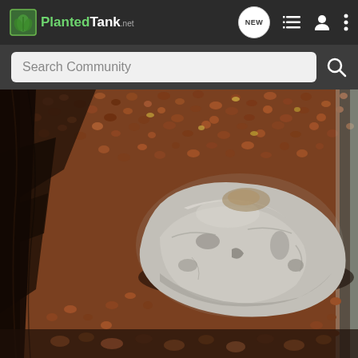PlantedTank
Search Community
[Figure (photo): Close-up photograph of a large grey-white rock resting on reddish-brown aquarium gravel substrate, with darker substrate/wood visible to the left and a glass edge to the right.]